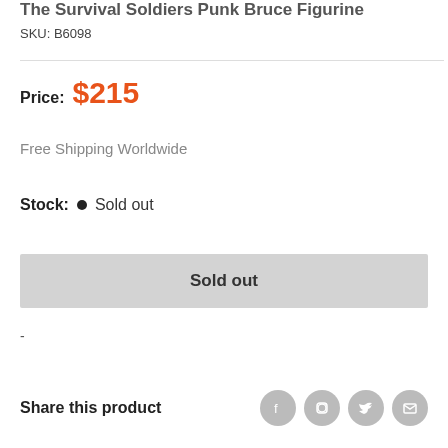The Survival Soldiers Punk Bruce Figurine
SKU: B6098
Price: $215
Free Shipping Worldwide
Stock: • Sold out
Sold out
-
Share this product